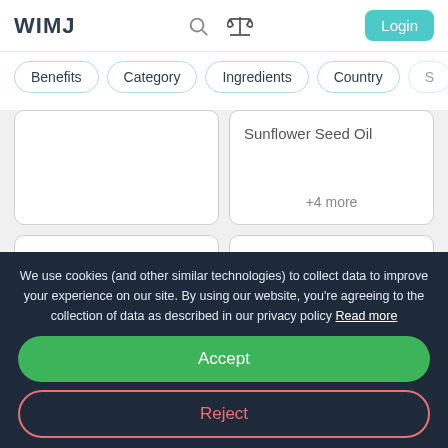WIMJ
Benefits
Category
Ingredients
Country
Sunflower Seed Oil
+4 more
IRRITANCY HIGH
Appears in 1 user routines
Add to Compare
Buy from £19.90
We use cookies (and other similar technologies) to collect data to improve your experience on our site. By using our website, you're agreeing to the collection of data as described in our privacy policy Read more
Accept
Reject